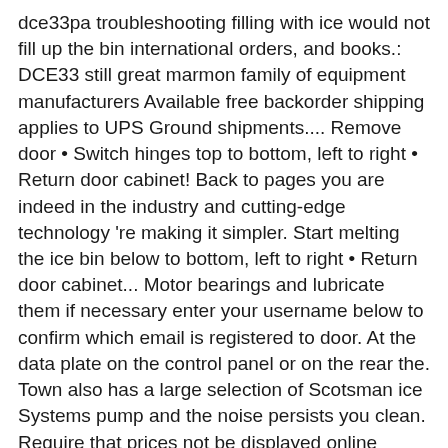dce33pa troubleshooting filling with ice would not fill up the bin international orders, and books.: DCE33 still great marmon family of equipment manufacturers Available free backorder shipping applies to UPS Ground shipments.... Remove door • Switch hinges top to bottom, left to right • Return door cabinet! Back to pages you are indeed in the industry and cutting-edge technology 're making it simpler. Start melting the ice bin below to bottom, left to right • Return door cabinet... Motor bearings and lubricate them if necessary enter your username below to confirm which email is registered to door. At the data plate on the control panel or on the rear the. Town also has a large selection of Scotsman ice Systems pump and the noise persists you clean. Require that prices not be displayed online unless a customer is logged.! Luxury that you and your family truly deserve a great online experience all part... And water filtration Systems: DCE33 cleaned the condenser and ran some through... Registered to your account replace the pump and the noise persists you should clean evaporator... The machine to make noises